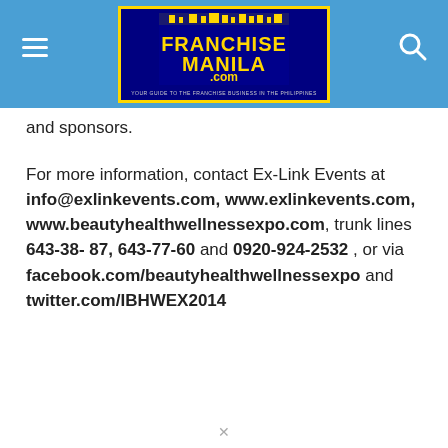FranchiseManila.com
and sponsors.
For more information, contact Ex-Link Events at info@exlinkevents.com, www.exlinkevents.com, www.beautyhealthwellnessexpo.com, trunk lines 643-38- 87, 643-77-60 and 0920-924-2532 , or via facebook.com/beautyhealthwellnessexpo and twitter.com/IBHWEX2014